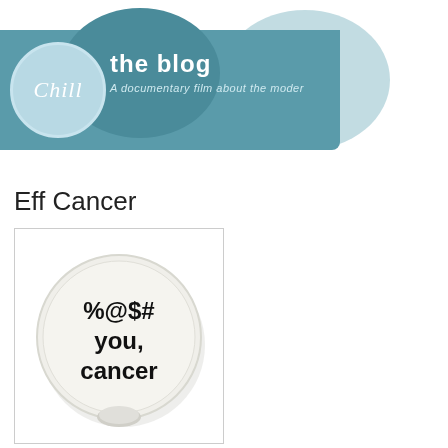[Figure (logo): Chill the blog header banner with circular logo showing 'Chill' in italic script, teal/blue background with overlapping circles, subtitle 'A documentary film about the moder...']
Wednesday, March 13, 2013
Eff Cancer
[Figure (photo): A round button/pin badge with text '%@$# you, cancer' in bold black text on a light cream/white background]